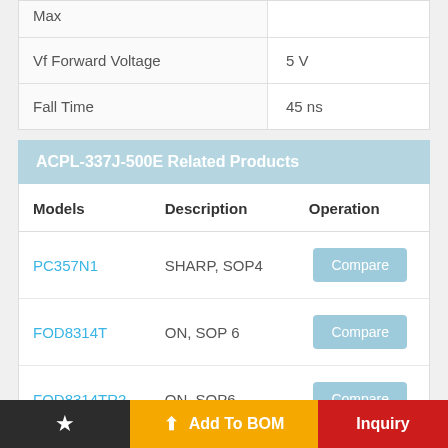|  |  |
| --- | --- |
| Pulse Width Distortion Max | 12.7nE |
| Max |  |
| Vf Forward Voltage | 5 V |
| Fall Time | 45 ns |
ACPL-337J-500E Related Products
| Models | Description | Operation |
| --- | --- | --- |
| PC357N1 | SHARP, SOP4 | Compare |
| FOD8314T | ON, SOP 6 | Compare |
| FOD8314TR2 | ON, SOP6 | Compare |
★  Add To BOM  Inquiry